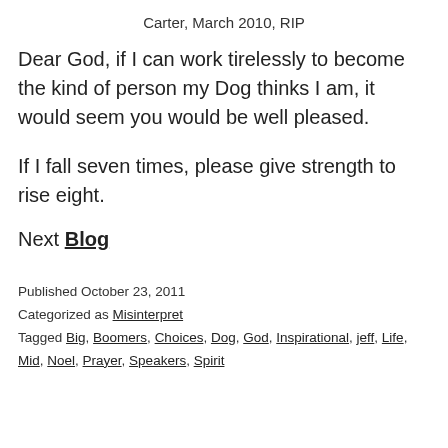Carter, March 2010, RIP
Dear God, if I can work tirelessly to become the kind of person my Dog thinks I am, it would seem you would be well pleased.
If I fall seven times, please give strength to rise eight.
Next Blog
Published October 23, 2011
Categorized as Misinterpret
Tagged Big, Boomers, Choices, Dog, God, Inspirational, jeff, Life, Mid, Noel, Prayer, Speakers, Spirit